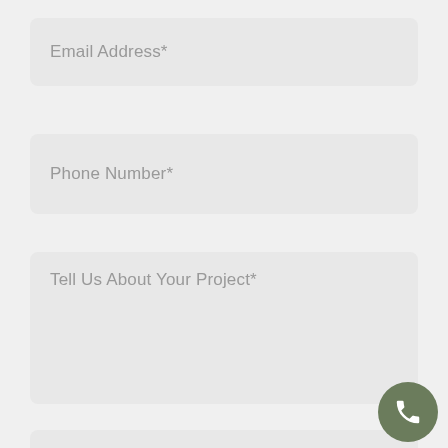Email Address*
Phone Number*
Tell Us About Your Project*
Where did you hear about us?
CAPTCHA
[Figure (other): Phone call button - circular green/olive colored button with white phone handset icon]